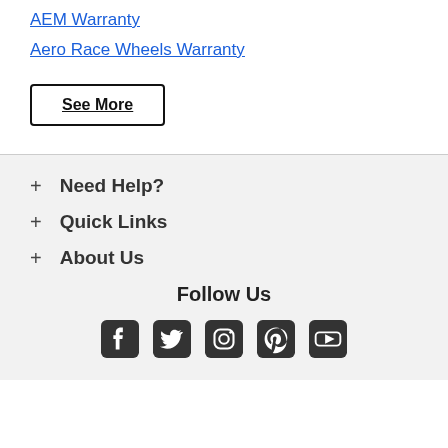AEM Warranty
Aero Race Wheels Warranty
See More
+ Need Help?
+ Quick Links
+ About Us
Follow Us
[Figure (other): Social media icons: Facebook, Twitter, Instagram, Pinterest, YouTube]